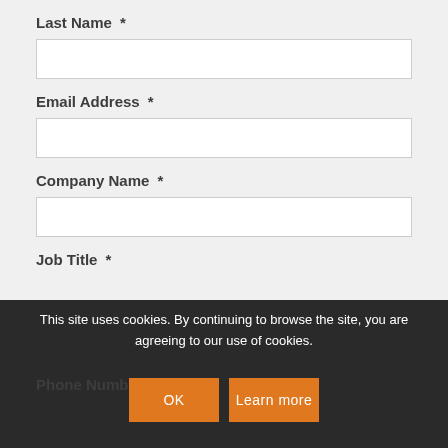Last Name *
Email Address *
Company Name *
Job Title *
Phone Number *
This site uses cookies. By continuing to browse the site, you are agreeing to our use of cookies.
OK
Learn more